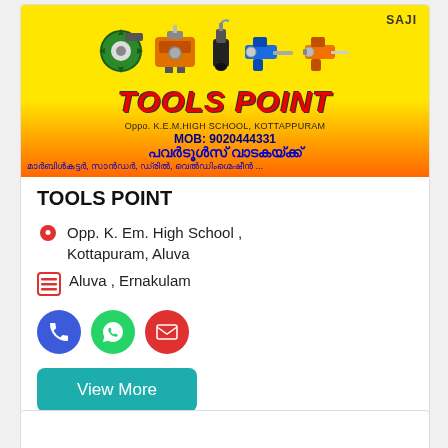[Figure (illustration): Tools Point business card banner with yellow-to-red gradient background, images of power tools (circular saw, welding machine, pressure washer, drill, power drill), 'TOOLS POINT' in red italic bold text, address 'Oppo. K.E.M.HIGH SCHOOL, KOTTAPPURAM', phone 'MOB: 9020444331', Malayalam text for power tools rental, 'SAJI' watermark top right]
TOOLS POINT
Opp. K. Em. High School , Kottapuram, Aluva
Aluva , Ernakulam
[Figure (infographic): Three circular action icon buttons: blue phone icon, green WhatsApp icon, red email icon]
View More